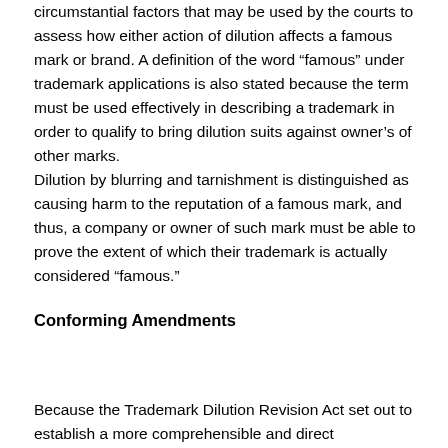circumstantial factors that may be used by the courts to assess how either action of dilution affects a famous mark or brand. A definition of the word “famous” under trademark applications is also stated because the term must be used effectively in describing a trademark in order to qualify to bring dilution suits against owner’s of other marks. Dilution by blurring and tarnishment is distinguished as causing harm to the reputation of a famous mark, and thus, a company or owner of such mark must be able to prove the extent of which their trademark is actually considered “famous.”
Conforming Amendments
Because the Trademark Dilution Revision Act set out to establish a more comprehensible and direct determination of